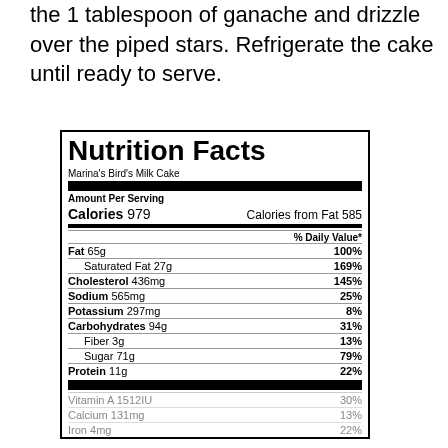the 1 tablespoon of ganache and drizzle over the piped stars. Refrigerate the cake until ready to serve.
| Nutrient | Amount | % Daily Value |
| --- | --- | --- |
| Calories | 979 |  |
| Calories from Fat | 585 |  |
| Fat | 65g | 100% |
| Saturated Fat | 27g | 169% |
| Cholesterol | 436mg | 145% |
| Sodium | 565mg | 25% |
| Potassium | 297mg | 8% |
| Carbohydrates | 94g | 31% |
| Fiber | 3g | 13% |
| Sugar | 71g | 79% |
| Protein | 11g | 22% |
| Vitamin A | 1512IU | 30% |
| Calcium | 131mg | 13% |
| Iron | 4mg | 22% |